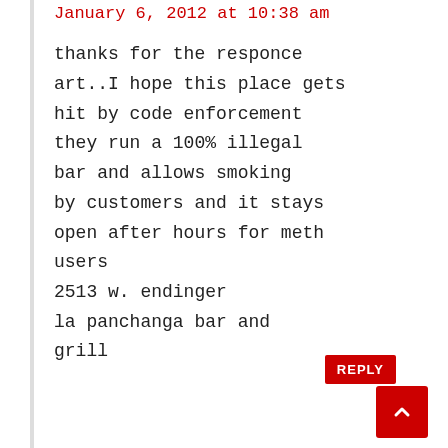January 6, 2012 at 10:38 am
thanks for the responce art..I hope this place gets hit by code enforcement they run a 100% illegal bar and allows smoking by customers and it stays open after hours for meth users
2513 w. endinger
la panchanga bar and grill